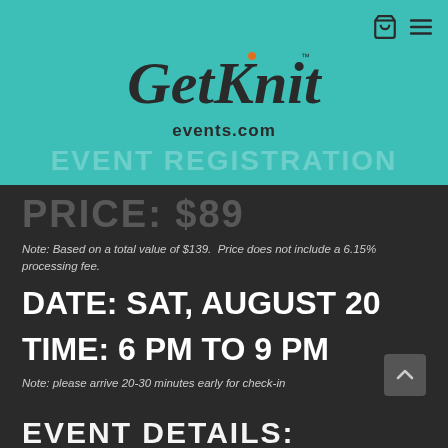[Figure (logo): GetKnit events.com logo on teal/turquoise background]
PRICE: $89
Note: Based on a total value of $139.  Price does not include a 6.15% processing fee.
DATE: SAT, AUGUST 20
TIME: 6 PM to 9 PM
Note: please arrive 20-30 minutes early for check-in
EVENT DETAILS: